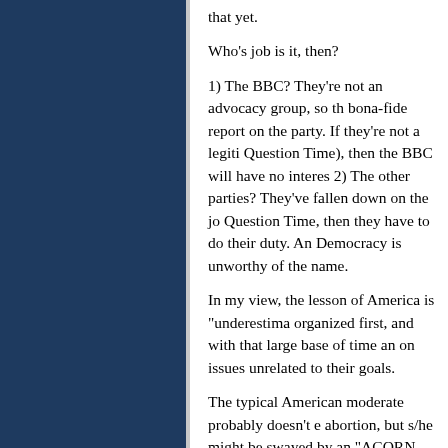that yet.
Who's job is it, then?
1) The BBC? They're not an advocacy group, so th bona-fide report on the party. If they're not a legiti Question Time), then the BBC will have no interes 2) The other parties? They've fallen down on the jo Question Time, then they have to do their duty. An Democracy is unworthy of the name.
In my view, the lesson of America is "underestima organized first, and with that large base of time an on issues unrelated to their goals.
The typical American moderate probably doesn't e abortion, but s/he might be swayed by an "ACORN last election).
The best thing for Britain is to stop the BNP now. they're a few years removed from their current ido label stick.
# posted by Majromax : 10:21 pm _
One way to handle the situation is by direct respon